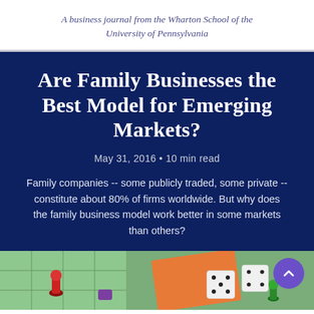A business journal from the Wharton School of the University of Pennsylvania
Are Family Businesses the Best Model for Emerging Markets?
May 31, 2016 • 10 min read
Family companies -- some publicly traded, some private -- constitute about 80% of firms worldwide. But why does the family business model work better in some markets than others?
[Figure (photo): A board game scene with dice, playing pieces (red, green), and colorful cards on a green surface.]